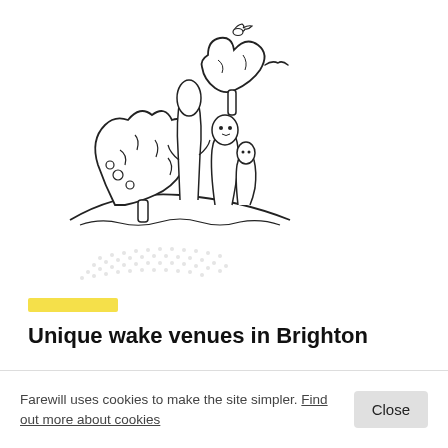[Figure (illustration): A whimsical line-drawing illustration showing trees and small finger-puppet-like characters on a hill, with a bird perched on top and a flying bird in the background. A dotted grey shadow or ground area is below the hill.]
Unique wake venues in Brighton
Farewill uses cookies to make the site simpler. Find out more about cookies